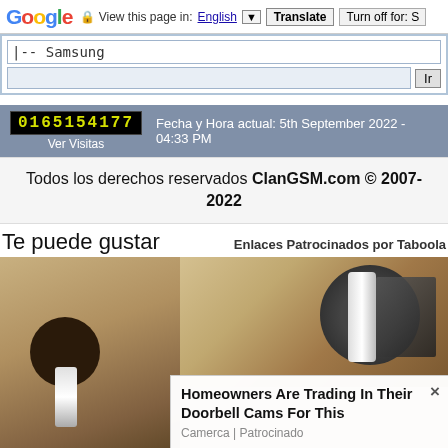Google — View this page in: English ▼ | Translate | Turn off for: S
|-- Samsung
Ir
0165154177 Ver Visitas — Fecha y Hora actual: 5th September 2022 - 04:33 PM
Todos los derechos reservados ClanGSM.com © 2007-2022
Te puede gustar
Enlaces Patrocinados por Taboola
[Figure (photo): Outdoor wall lamp/light fixture mounted on stone wall. Ad overlay: Homeowners Are Trading In Their Doorbell Cams For This. Camerca | Patrocinado]
Homeowners Are Trading In Their Doorbell Cams For This
Camerca | Patrocinado